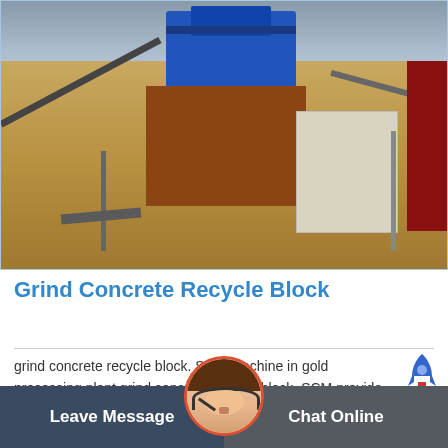[Figure (photo): Industrial mining/crushing equipment — a large blue crusher machine on a sand/gravel site with conveyors and other machinery visible in the background under a cloudy sky.]
Grind Concrete Recycle Block
grind concrete recycle block. SCM machine in gold processing plant grind concrete recycle block. SCM provide the grind concrete recycle block solution case for you